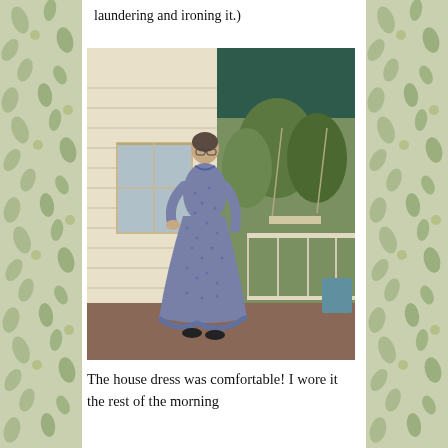laundering and ironing it.)
[Figure (photo): A woman standing on a porch wearing a long blue historical house dress with long sleeves and ruffled hem. She has glasses and has one hand on her hip. Behind her is a white porch railing, porch swing, and green trees. The porch ceiling is dark green.]
The house dress was comfortable! I wore it the rest of the morning